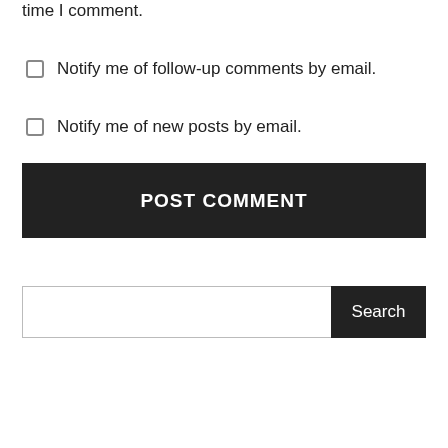time I comment.
Notify me of follow-up comments by email.
Notify me of new posts by email.
POST COMMENT
Search